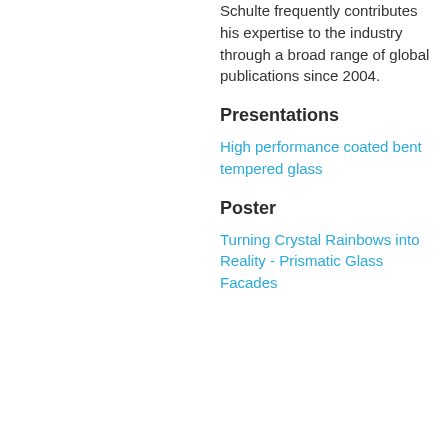Schulte frequently contributes his expertise to the industry through a broad range of global publications since 2004.
Presentations
High performance coated bent tempered glass
Poster
Turning Crystal Rainbows into Reality - Prismatic Glass Facades